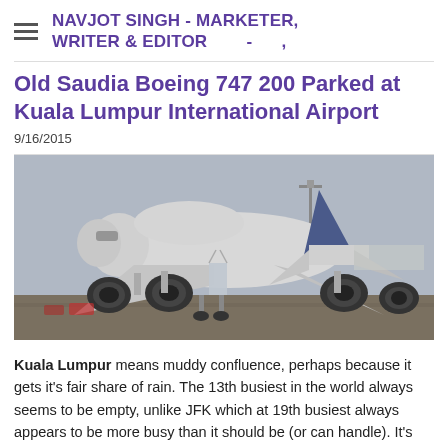NAVJOT SINGH - MARKETER, WRITER & EDITOR  -  ,
Old Saudia Boeing 747 200 Parked at Kuala Lumpur International Airport
9/16/2015
[Figure (photo): Old Saudia Boeing 747-200 aircraft parked on tarmac at Kuala Lumpur International Airport, front-facing view showing engines, nose, and blue tail fin. Airport ground equipment visible in foreground.]
Kuala Lumpur means muddy confluence, perhaps because it gets it's fair share of rain. The 13th busiest in the world always seems to be empty, unlike JFK which at 19th busiest always appears to be more busy than it should be (or can handle). It's built about 50kms from the city, about